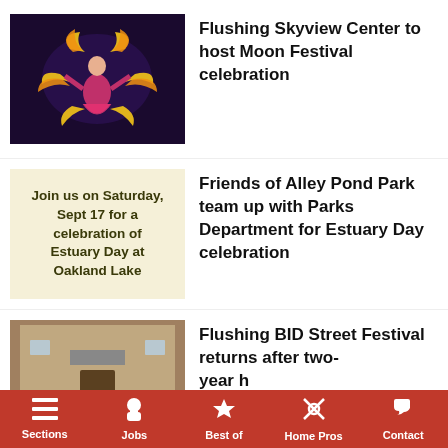[Figure (photo): Performer in colorful costume with fan props on dark stage - Moon Festival dance performance]
Flushing Skyview Center to host Moon Festival celebration
[Figure (infographic): Cream/tan background with text: Join us on Saturday, Sept 17 for a celebration of Estuary Day at Oakland Lake]
Friends of Alley Pond Park team up with Parks Department for Estuary Day celebration
[Figure (photo): Group photo of people standing in front of a building - Flushing BID Street Festival organizers]
Flushing BID Street Festival returns after two-
Sections  Jobs  Best of  Home Pros  Contact